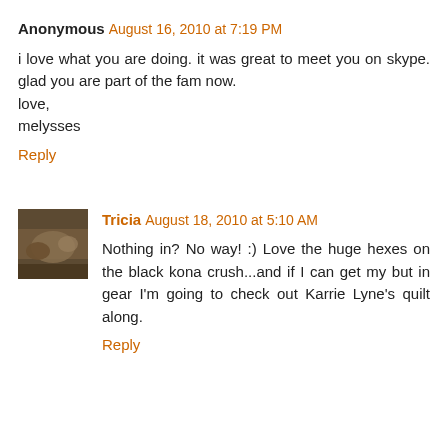Anonymous August 16, 2010 at 7:19 PM
i love what you are doing. it was great to meet you on skype. glad you are part of the fam now.
love,
melysses
Reply
Tricia August 18, 2010 at 5:10 AM
Nothing in? No way! :) Love the huge hexes on the black kona crush...and if I can get my but in gear I'm going to check out Karrie Lyne's quilt along.
Reply